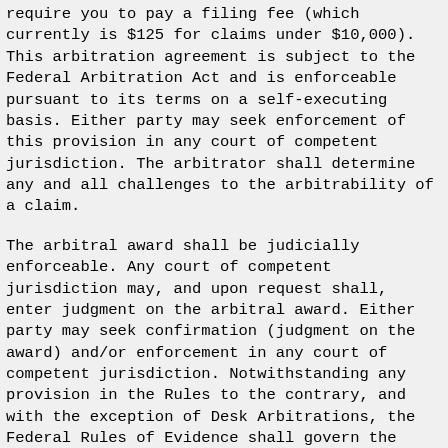require you to pay a filing fee (which currently is $125 for claims under $10,000). This arbitration agreement is subject to the Federal Arbitration Act and is enforceable pursuant to its terms on a self-executing basis. Either party may seek enforcement of this provision in any court of competent jurisdiction. The arbitrator shall determine any and all challenges to the arbitrability of a claim.
The arbitral award shall be judicially enforceable. Any court of competent jurisdiction may, and upon request shall, enter judgment on the arbitral award. Either party may seek confirmation (judgment on the award) and/or enforcement in any court of competent jurisdiction. Notwithstanding any provision in the Rules to the contrary, and with the exception of Desk Arbitrations, the Federal Rules of Evidence shall govern the admissibility of evidence in any arbitral proceeding.